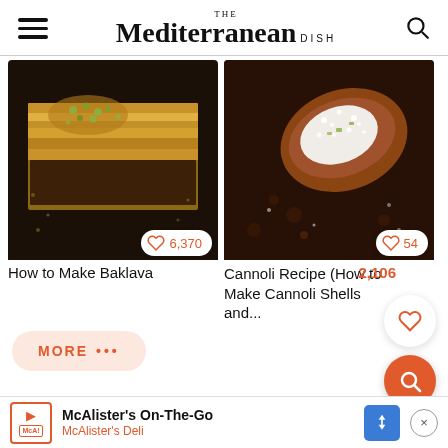THE Mediterranean DISH
[Figure (photo): Close-up photo of baklava pieces topped with crushed pistachios on a dark background]
6,370
How to Make Baklava
[Figure (photo): Close-up photo of a cannoli shell filled with white cream, dusted with powdered sugar on a dark background]
54
Cannoli Recipe (How to Make Cannoli Shells and...
2,106
MORE •••
McAlister's On-The-Go
McAlister's Deli